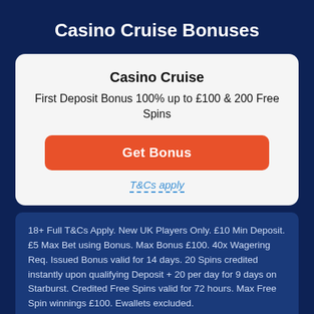Casino Cruise Bonuses
Casino Cruise
First Deposit Bonus 100% up to £100 & 200 Free Spins
Get Bonus
T&Cs apply
18+ Full T&Cs Apply. New UK Players Only. £10 Min Deposit. £5 Max Bet using Bonus. Max Bonus £100. 40x Wagering Req. Issued Bonus valid for 14 days. 20 Spins credited instantly upon qualifying Deposit + 20 per day for 9 days on Starburst. Credited Free Spins valid for 72 hours. Max Free Spin winnings £100. Ewallets excluded. www.begambleaware.org
Casino Cruise Toole